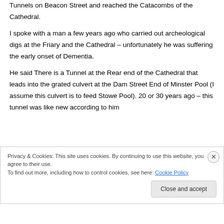Tunnels on Beacon Street and reached the Catacombs of the Cathedral.
I spoke with a man a few years ago who carried out archeological digs at the Friary and the Cathedral – unfortunately he was suffering the early onset of Dementia.
He said There is a Tunnel at the Rear end of the Cathedral that leads into the grated culvert at the Dam Street End of Minster Pool (I assume this culvert is to feed Stowe Pool). 20 or 30 years ago – this tunnel was like new according to him
Privacy & Cookies: This site uses cookies. By continuing to use this website, you agree to their use.
To find out more, including how to control cookies, see here: Cookie Policy